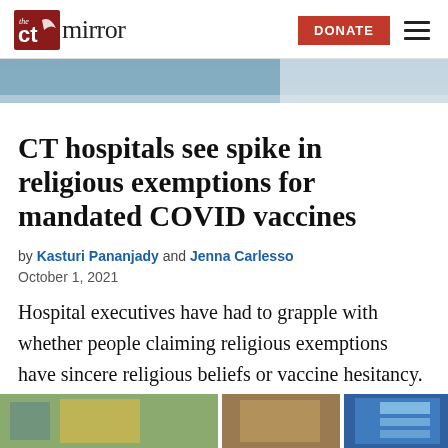the CT mirror | DONATE
[Figure (photo): Top image strip showing partial photo of people, likely in a medical or public setting]
CT hospitals see spike in religious exemptions for mandated COVID vaccines
by Kasturi Pananjady and Jenna Carlesso
October 1, 2021
Hospital executives have had to grapple with whether people claiming religious exemptions have sincere religious beliefs or vaccine hesitancy.
[Figure (photo): Bottom image strip showing photos of hospital or medical facility signage and bulletin boards]